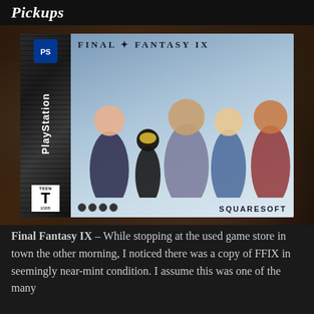Pickups
[Figure (photo): Final Fantasy IX PlayStation game case displayed on a wooden surface. The case shows the PlayStation logo on the spine, with the Final Fantasy IX title on the front cover featuring multiple game characters. The ESRB Teen rating and Squaresoft publisher logo are visible.]
Final Fantasy IX – While stopping at the used game store in town the other morning, I noticed there was a copy of FFIX in seemingly near-mint condition. I assume this was one of the many